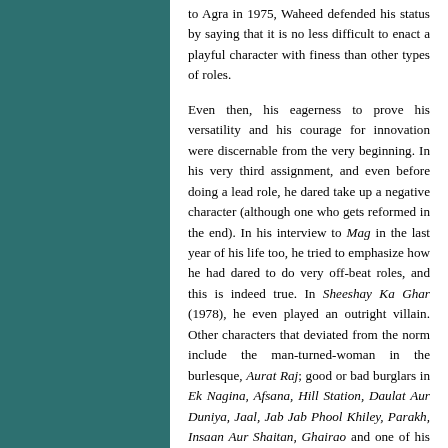to Agra in 1975, Waheed defended his status by saying that it is no less difficult to enact a playful character with finess than other types of roles.
Even then, his eagerness to prove his versatility and his courage for innovation were discernable from the very beginning. In his very third assignment, and even before doing a lead role, he dared take up a negative character (although one who gets reformed in the end). In his interview to Mag in the last year of his life too, he tried to emphasize how he had dared to do very off-beat roles, and this is indeed true. In Sheeshay Ka Ghar (1978), he even played an outright villain. Other characters that deviated from the norm include the man-turned-woman in the burlesque, Aurat Raj; good or bad burglars in Ek Nagina, Afsana, Hill Station, Daulat Aur Duniya, Jaal, Jab Jab Phool Khiley, Parakh, Insaan Aur Shaitan, Ghairao and one of his two roles in Hero; the faithless spouse in Bahen